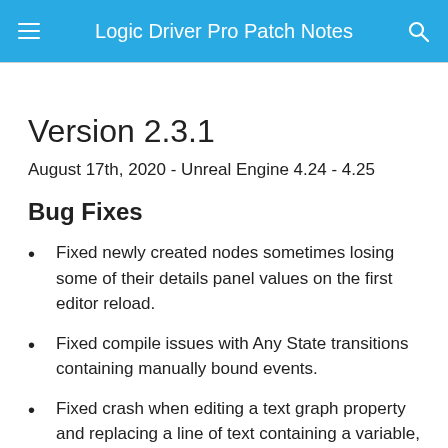Logic Driver Pro Patch Notes
Version 2.3.1
August 17th, 2020 - Unreal Engine 4.24 - 4.25
Bug Fixes
Fixed newly created nodes sometimes losing some of their details panel values on the first editor reload.
Fixed compile issues with Any State transitions containing manually bound events.
Fixed crash when editing a text graph property and replacing a line of text containing a variable, then